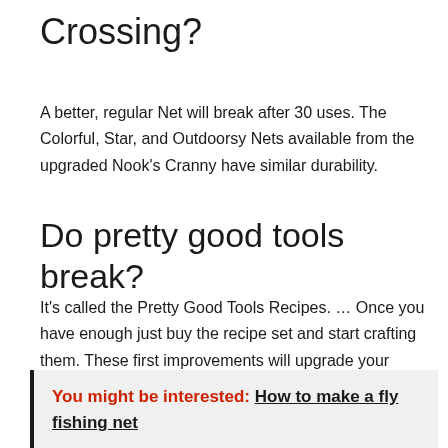Crossing?
A better, regular Net will break after 30 uses. The Colorful, Star, and Outdoorsy Nets available from the upgraded Nook's Cranny have similar durability.
Do pretty good tools break?
It's called the Pretty Good Tools Recipes. … Once you have enough just buy the recipe set and start crafting them. These first improvements will upgrade your durability quite a bit. The tools will still break, currently there's no known way to totally stop that, but they will break less often.
You might be interested: How to make a fly fishing net